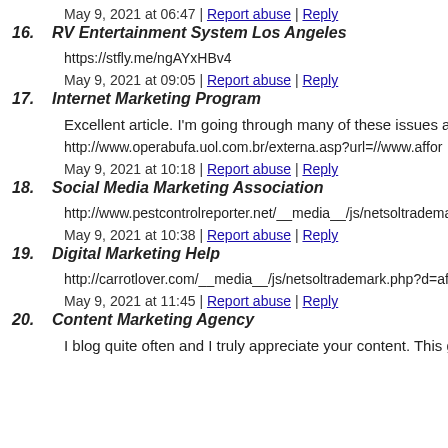May 9, 2021 at 06:47 | Report abuse | Reply
16. RV Entertainment System Los Angeles
https://stfly.me/ngAYxHBv4
May 9, 2021 at 09:05 | Report abuse | Reply
17. Internet Marketing Program
Excellent article. I'm going through many of these issues as we
http://www.operabufa.uol.com.br/externa.asp?url=//www.affor
May 9, 2021 at 10:18 | Report abuse | Reply
18. Social Media Marketing Association
http://www.pestcontrolreporter.net/__media__/js/netsoltradema
May 9, 2021 at 10:38 | Report abuse | Reply
19. Digital Marketing Help
http://carrotlover.com/__media__/js/netsoltrademark.php?d=af
May 9, 2021 at 11:45 | Report abuse | Reply
20. Content Marketing Agency
I blog quite often and I truly appreciate your content. This grea